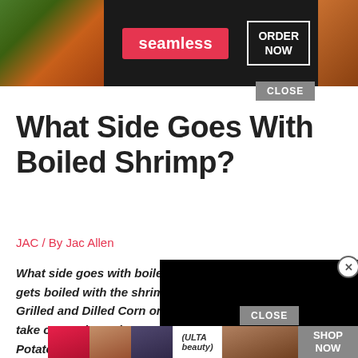[Figure (screenshot): Seamless food delivery advertisement banner at top with food images, Seamless logo in red pill, and ORDER NOW button]
What Side Goes With Boiled Shrimp?
JAC / By Jac Allen
What side goes with boiled shrimp? Often, corn on the cob gets boiled with the shrimp, but Grilled and Dilled Corn on the Cob is a take on Mexican elote. Step up your game with Potatoes with Arugula Pesto. You can make them ahead and serve cold—offering a cooling break from the spicy cocktail sauce.
[Figure (screenshot): ULTA beauty advertisement banner at bottom with makeup product images and SHOP NOW button]